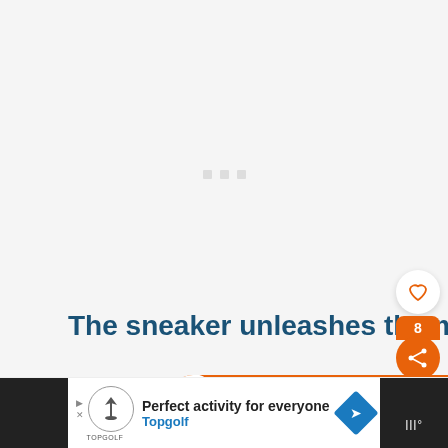[Figure (screenshot): Large light gray/white empty content area with three small gray square loading dots centered near the top third]
The sneaker unleashes the monster
[Figure (infographic): Orange social share widget showing count of 8 and share icon, with white heart/favorite button above]
[Figure (infographic): WHAT'S NEXT orange banner showing Lancome circle logo and text 'List of 43+ Best Lancome Brand']
[Figure (screenshot): Bottom advertisement bar for Topgolf: 'Perfect activity for everyone / Topgolf' with Topgolf shield logo and blue navigation diamond icon, dark panels on left and right sides]